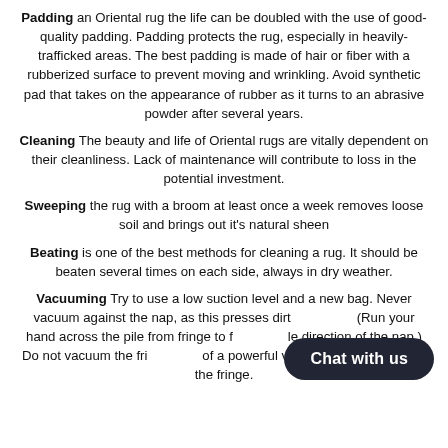Padding an Oriental rug the life can be doubled with the use of good-quality padding. Padding protects the rug, especially in heavily-trafficked areas. The best padding is made of hair or fiber with a rubberized surface to prevent moving and wrinkling. Avoid synthetic pad that takes on the appearance of rubber as it turns to an abrasive powder after several years.
Cleaning The beauty and life of Oriental rugs are vitally dependent on their cleanliness. Lack of maintenance will contribute to loss in the potential investment.
Sweeping the rug with a broom at least once a week removes loose soil and brings out it's natural sheen
Beating is one of the best methods for cleaning a rug. It should be beaten several times on each side, always in dry weather.
Vacuuming Try to use a low suction level and a new bag. Never vacuum against the nap, as this presses dirt (Run your hand across the pile from fringe to f le direction of the nap.) Do not vacuum the fri of a powerful vacuum cleaner can tear the fringe.